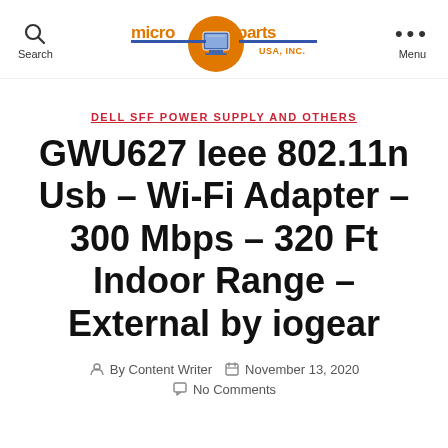Search | Micro Parts USA, Inc. | Menu
DELL SFF POWER SUPPLY AND OTHERS
GWU627 Ieee 802.11n Usb – Wi-Fi Adapter – 300 Mbps – 320 Ft Indoor Range – External by iogear
By Content Writer   November 13, 2020   No Comments